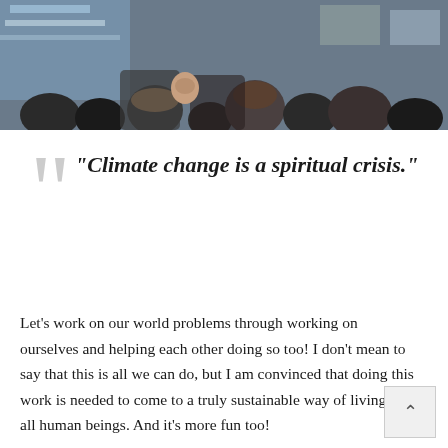[Figure (photo): A crowd of people at what appears to be a climate-related protest or march, holding banners and signs, photographed from behind/side angle.]
“Climate change is a spiritual crisis.”
Let’s work on our world problems through working on ourselves and helping each other doing so too! I don’t mean to say that this is all we can do, but I am convinced that doing this work is needed to come to a truly sustainable way of living with all human beings. And it’s more fun too!